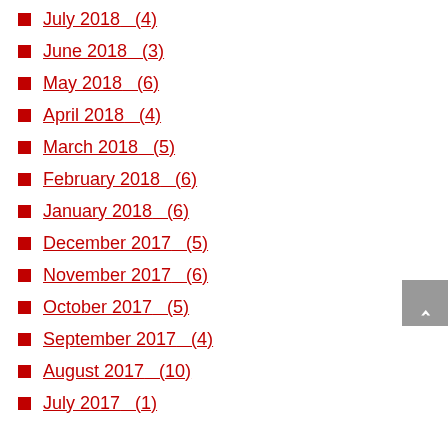July 2018  (4)
June 2018  (3)
May 2018  (6)
April 2018  (4)
March 2018  (5)
February 2018  (6)
January 2018  (6)
December 2017  (5)
November 2017  (6)
October 2017  (5)
September 2017  (4)
August 2017  (10)
July 2017  (1)